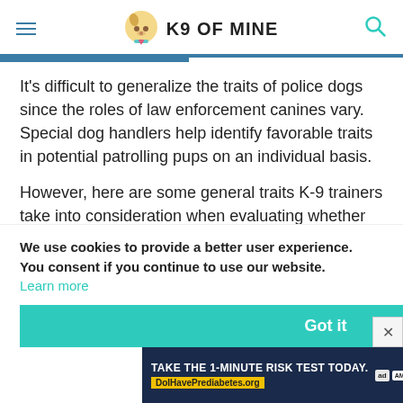K9 OF MINE
It’s difficult to generalize the traits of police dogs since the roles of law enforcement canines vary. Special dog handlers help identify favorable traits in potential patrolling pups on an individual basis.
However, here are some general traits K-9 trainers take into consideration when evaluating whether or not a particular fit for police work
We use cookies to provide a better user experience. You consent if you continue to use our website. Learn more
[Figure (screenshot): Cookie consent banner with teal 'Got it' button and a prediabetes risk test advertisement at the bottom]